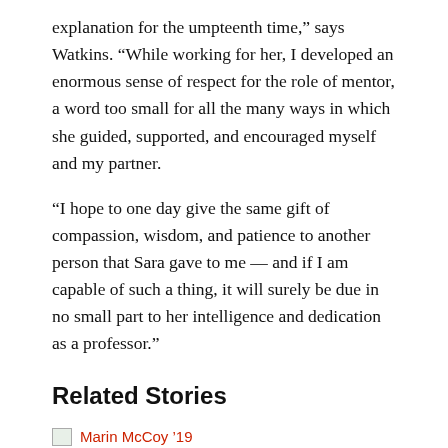explanation for the umpteenth time,” says Watkins. “While working for her, I developed an enormous sense of respect for the role of mentor, a word too small for all the many ways in which she guided, supported, and encouraged myself and my partner.
“I hope to one day give the same gift of compassion, wisdom, and patience to another person that Sara gave to me — and if I am capable of such a thing, it will surely be due in no small part to her intelligence and dedication as a professor.”
Related Stories
[Figure (photo): Small thumbnail image placeholder for Marin McCoy '19 related story link]
Marin McCoy ’19